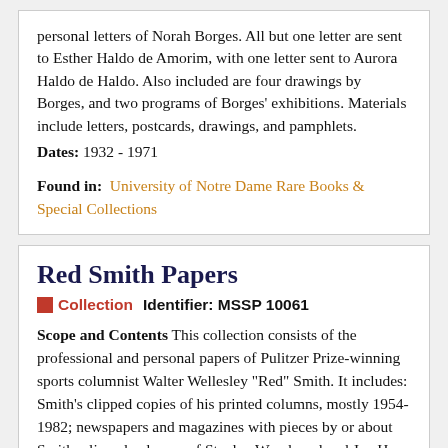personal letters of Norah Borges. All but one letter are sent to Esther Haldo de Amorim, with one letter sent to Aurora Haldo de Haldo. Also included are four drawings by Borges, and two programs of Borges' exhibitions. Materials include letters, postcards, drawings, and pamphlets.
Dates: 1932 - 1971
Found in: University of Notre Dame Rare Books & Special Collections
Red Smith Papers
Collection   Identifier: MSSP 10061
Scope and Contents This collection consists of the professional and personal papers of Pulitzer Prize-winning sports columnist Walter Wellesley "Red" Smith. It includes: Smith's clipped copies of his printed columns, mostly 1954-1982; newspapers and magazines with pieces by or about Smith; clipped columns of Stanley Woodward and Joe H. Palmer; manuscripts and/or